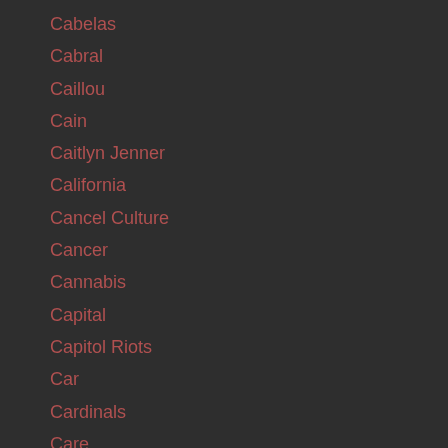Cabelas
Cabral
Caillou
Cain
Caitlyn Jenner
California
Cancel Culture
Cancer
Cannabis
Capital
Capitol Riots
Car
Cardinals
Care
Carhart
Carolla
Cars
Casey
Cash
Castration
Catchphrase